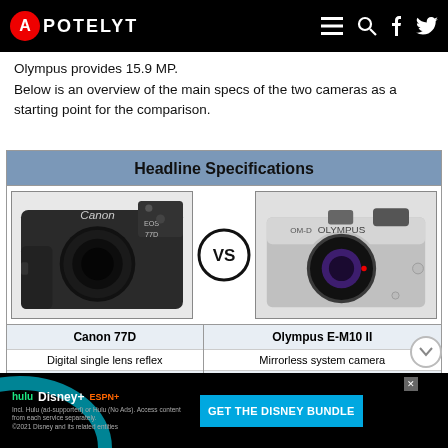APOTELYT
Olympus provides 15.9 MP.
Below is an overview of the main specs of the two cameras as a starting point for the comparison.
| Canon 77D | Olympus E-M10 II |
| --- | --- |
| Digital single lens reflex | Mirrorless system camera |
| Canon EF mount lenses | Micro Four Thirds lenses |
| 24 MP – APS-C sensor | 15.9 MP – Four Thirds sensor |
| 1080/60p Video | 1080/60p Video |
[Figure (photo): Canon 77D DSLR camera body (left) vs Olympus E-M10 II mirrorless camera body (right), separated by a VS badge]
[Figure (infographic): Disney Bundle advertisement banner with Hulu, Disney+, ESPN+ logos and GET THE DISNEY BUNDLE call-to-action]